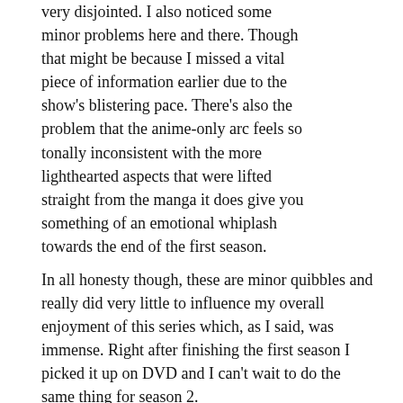very disjointed. I also noticed some minor problems here and there. Though that might be because I missed a vital piece of information earlier due to the show's blistering pace. There's also the problem that the anime-only arc feels so tonally inconsistent with the more lighthearted aspects that were lifted straight from the manga it does give you something of an emotional whiplash towards the end of the first season.
In all honesty though, these are minor quibbles and really did very little to influence my overall enjoyment of this series which, as I said, was immense. Right after finishing the first season I picked it up on DVD and I can't wait to do the same thing for season 2.
8/10
WORTH BUYING
[Figure (illustration): Black box with white up and down arrows indicating navigation or rating controls]
Blood Blockade Battlefront has been licensed in the UK by Funimation Entertainment and in the UK by Ani and can be purchased on DVD and Blu-ray in both regions. It